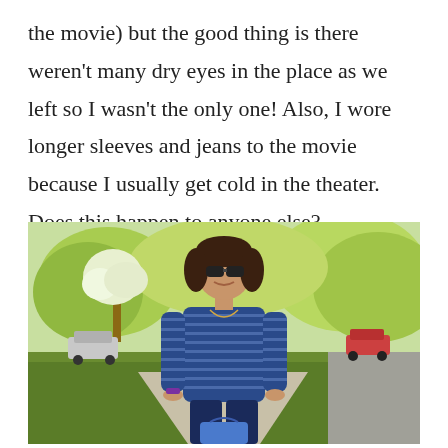the movie) but the good thing is there weren't many dry eyes in the place as we left so I wasn't the only one!  Also, I wore longer sleeves and jeans to the movie because I usually get cold in the theater. Does this happen to anyone else?
[Figure (photo): A woman wearing a blue striped long-sleeve shirt, jeans, and sunglasses, smiling and posing outdoors on a sidewalk near a tree-lined suburban street. She is holding a blue bag. Cars are visible in the background.]